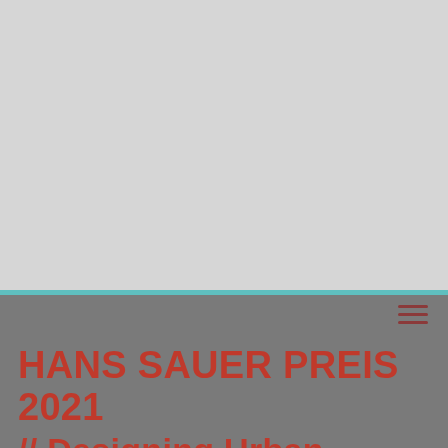richten, diese Inhalte und ihre Dienstleistungen verbessern. Personenbezogene Daten können verarbeitet werden (z. B. IP-Adressen), z. B. für personalisierte Anzeigen und Inhalte oder und Informationen über die
[Figure (logo): social design lab wordmark in dark red/crimson color]
Essenziell   Externe Medien
HANS SAUER PREIS 2021 // Designing Urban Communities of tomorrow
The negative impact of the linear economic system is most noticeable in urban areas: Cities currently consume